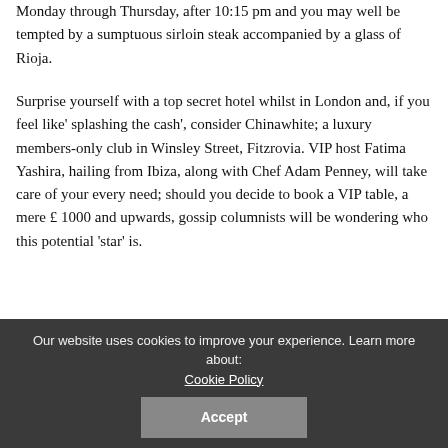Monday through Thursday, after 10:15 pm and you may well be tempted by a sumptuous sirloin steak accompanied by a glass of Rioja.
Surprise yourself with a top secret hotel whilst in London and, if you feel like' splashing the cash', consider Chinawhite; a luxury members-only club in Winsley Street, Fitzrovia. VIP host Fatima Yashira, hailing from Ibiza, along with Chef Adam Penney, will take care of your every need; should you decide to book a VIP table, a mere £ 1000 and upwards, gossip columnists will be wondering who this potential 'star' is.
Happy to blog about the latest fashion
Our website uses cookies to improve your experience. Learn more about: Cookie Policy
Accept